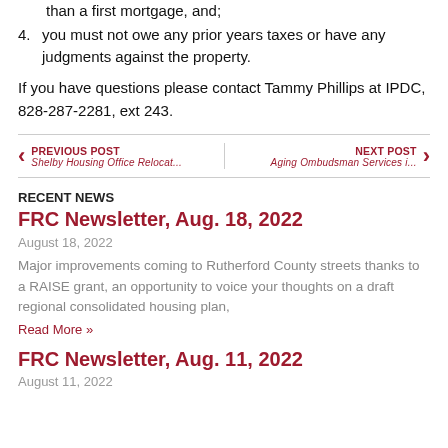than a first mortgage, and;
4. you must not owe any prior years taxes or have any judgments against the property.
If you have questions please contact Tammy Phillips at IPDC, 828-287-2281, ext 243.
PREVIOUS POST Shelby Housing Office Relocat... | NEXT POST Aging Ombudsman Services i...
RECENT NEWS
FRC Newsletter, Aug. 18, 2022
August 18, 2022
Major improvements coming to Rutherford County streets thanks to a RAISE grant, an opportunity to voice your thoughts on a draft regional consolidated housing plan,
Read More »
FRC Newsletter, Aug. 11, 2022
August 11, 2022